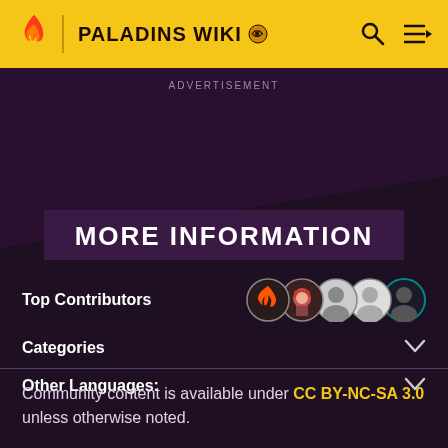PALADINS WIKI
ADVERTISEMENT
MORE INFORMATION
Top Contributors
Categories
Other Languages:
Community content is available under CC BY-NC-SA 3.0 unless otherwise noted.